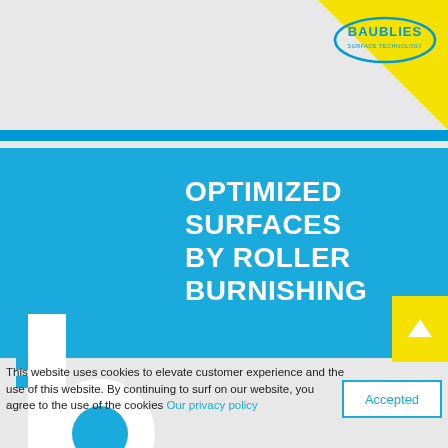[Figure (logo): Baublies logo with oval/ellipse shape and company name, positioned in top-right yellow corner area]
[Figure (illustration): Blue banner with white Baublies 'b' logo mark on left and large white text reading OPTIMIZED SURFACES BY ROLLER BURNISHING on right, with yellow up-arrow button in top-right corner]
This website uses cookies to elevate customer experience and the use of this website. By continuing to surf on our website, you agree to the use of the cookies Our privacy policy
Accepted